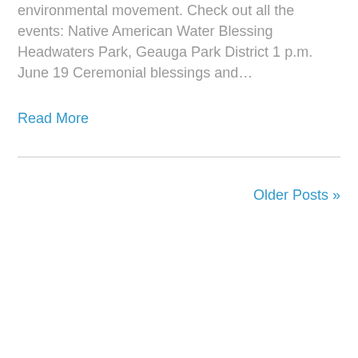environmental movement. Check out all the events: Native American Water Blessing Headwaters Park, Geauga Park District 1 p.m. June 19 Ceremonial blessings and…
Read More
Older Posts »